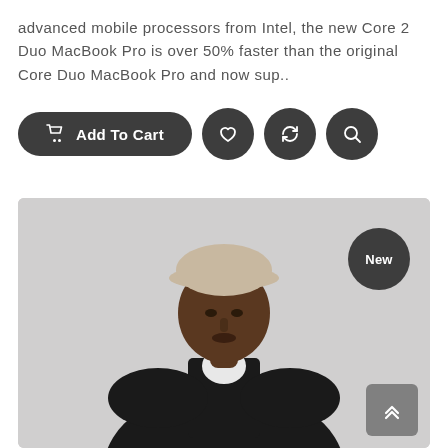advanced mobile processors from Intel, the new Core 2 Duo MacBook Pro is over 50% faster than the original Core Duo MacBook Pro and now sup..
[Figure (other): Action buttons row: Add To Cart button (dark rounded pill with cart icon), followed by three dark circular icon buttons (heart/wishlist, refresh/compare, search/magnify)]
[Figure (photo): Product photo of a young man wearing a black Puma bomber jacket, white t-shirt, and beige baseball cap, posed against a light grey background. A dark circular 'New' badge appears in the top-right corner of the image. A grey scroll-up chevron button overlays the bottom-right corner.]